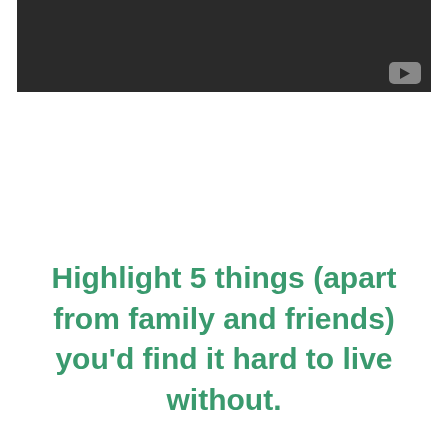[Figure (screenshot): Dark/black video player with a YouTube play button icon in the bottom-right corner]
Highlight 5 things (apart from family and friends) you'd find it hard to live without.